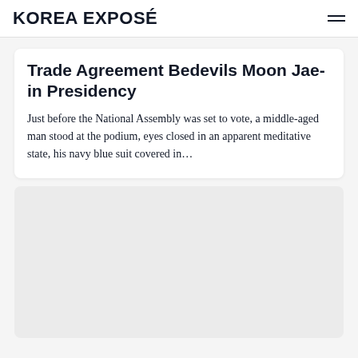KOREA EXPOSÉ
Trade Agreement Bedevils Moon Jae-in Presidency
Just before the National Assembly was set to vote, a middle-aged man stood at the podium, eyes closed in an apparent meditative state, his navy blue suit covered in…
[Figure (other): Gray placeholder card/image block below the article card]